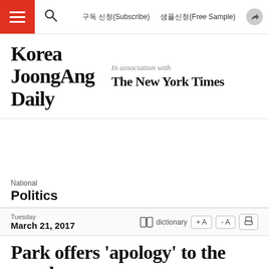구독 신청(Subscribe)  샘플신청(Free Sample)
[Figure (logo): Korea JoongAng Daily logo with 'In association with The New York Times']
National
Politics
Tuesday
March 21, 2017
Park offers 'apology' to the people